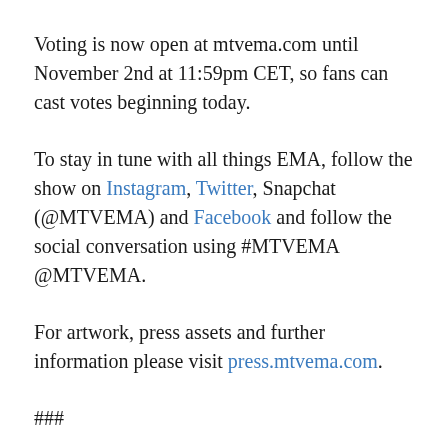Voting is now open at mtvema.com until November 2nd at 11:59pm CET, so fans can cast votes beginning today.
To stay in tune with all things EMA, follow the show on Instagram, Twitter, Snapchat (@MTVEMA) and Facebook and follow the social conversation using #MTVEMA @MTVEMA.
For artwork, press assets and further information please visit press.mtvema.com.
###
ABOUT THE 2019 MTV EMA